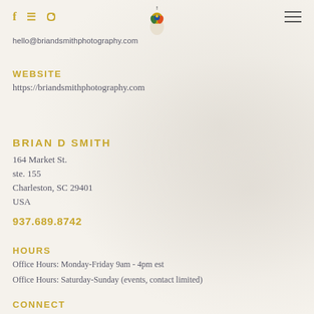f  pinterest  instagram  [logo]  menu
hello@briandsmithphotography.com
WEBSITE
https://briandsmithphotography.com
BRIAN D SMITH
164 Market St.
ste. 155
Charleston, SC 29401
USA
937.689.8742
HOURS
Office Hours: Monday-Friday 9am - 4pm est
Office Hours: Saturday-Sunday (events, contact limited)
CONNECT